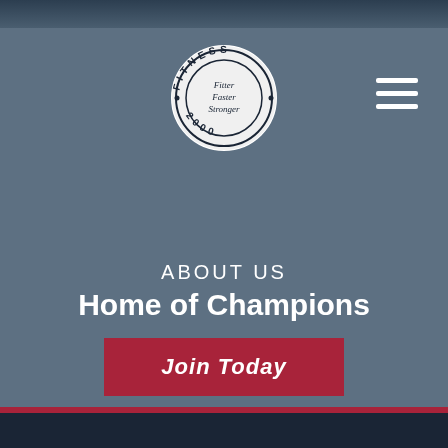[Figure (logo): Fitness 2000 circular logo with text 'Fitter Faster Stronger' in the center, surrounded by 'FITNESS 2000' around the border]
ABOUT US
Home of Champions
Join Today